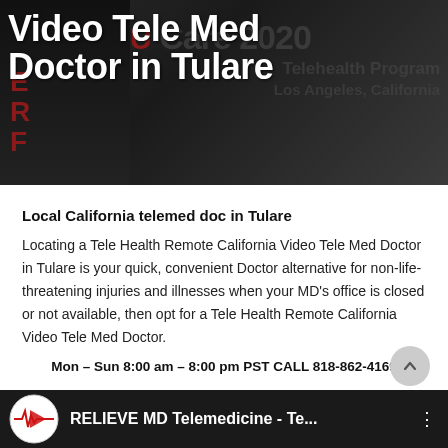[Figure (photo): Hero banner with dark background showing 'Video Tele Med Doctor in Tulare' title in white bold text, with watermark text 'U Care 2020 Telehealth Program Los Angeles, California' and red letters on left side]
Video Tele Med Doctor in Tulare
Local California telemed doc in Tulare
Locating a Tele Health Remote California Video Tele Med Doctor in Tulare is your quick, convenient Doctor alternative for non-life-threatening injuries and illnesses when your MD's office is closed or not available, then opt for a Tele Health Remote California Video Tele Med Doctor.
Mon – Sun 8:00 am – 8:00 pm PST CALL 818-862-4169
[Figure (screenshot): Video thumbnail for RELIEVE MD Telemedicine with logo and partial title text on dark background]